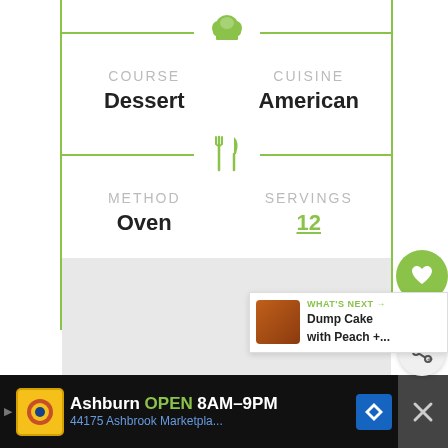[Figure (infographic): Recipe info card showing COURSE: Dessert, CUISINE: American with chef hat icon divider, METHOD: Oven, SERVINGS: 12 with fork-knife icon divider. Green vertical border lines on left and right.]
COURSE
Dessert
CUISINE
American
METHOD
Oven
SERVINGS
12
112
WHAT'S NEXT → Dump Cake with Peach +...
Ashburn  OPEN  8AM–9PM  44175 Ashbrook Marketpla...